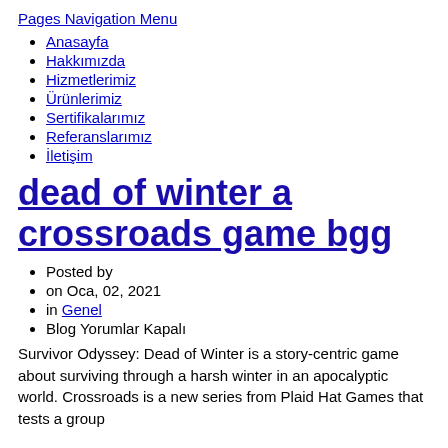Pages Navigation Menu
Anasayfa
Hakkımızda
Hizmetlerimiz
Ürünlerimiz
Sertifikalarımız
Referanslarımız
İletişim
dead of winter a crossroads game bgg
Posted by
on Oca, 02, 2021
in Genel
Blog Yorumlar Kapalı
Survivor Odyssey: Dead of Winter is a story-centric game about surviving through a harsh winter in an apocalyptic world. Crossroads is a new series from Plaid Hat Games that tests a group